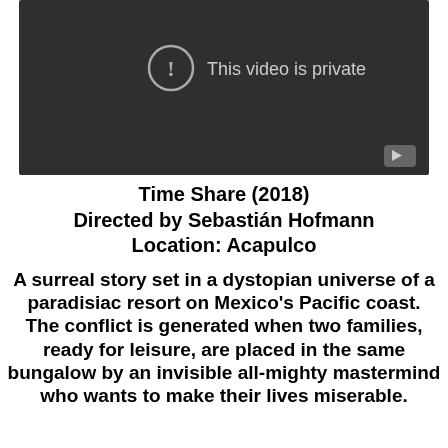[Figure (screenshot): Dark video player thumbnail showing 'This video is private' message with exclamation circle icon and a play button in the bottom right corner.]
Time Share (2018)
Directed by Sebastián Hofmann
Location: Acapulco
A surreal story set in a dystopian universe of a paradisiac resort on Mexico's Pacific coast. The conflict is generated when two families, ready for leisure, are placed in the same bungalow by an invisible all-mighty mastermind who wants to make their lives miserable.